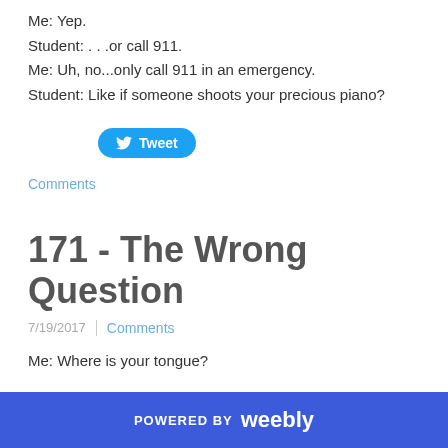Me: Yep.
Student: . . .or call 911.
Me: Uh, no...only call 911 in an emergency.
Student: Like if someone shoots your precious piano?
[Figure (screenshot): Tweet button (blue rounded button with Twitter bird icon and 'Tweet' text)]
Comments
171 - The Wrong Question
7/19/2017
Comments
Me: Where is your tongue?
POWERED BY weebly